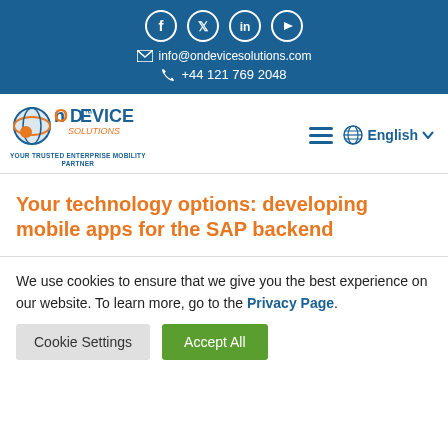[Figure (logo): Social media icons (Facebook, Twitter, LinkedIn, YouTube) in circular white-bordered buttons on blue background, contact email info@ondevicesolutions.com and phone +44 121 769 2048]
info@ondevicesolutions.com
+44 121 769 2048
[Figure (logo): On Device Solutions logo with globe/orbits icon in blue and gold, tagline YOUR TRUSTED ENTERPRISE MOBILITY PARTNER]
Your technology options: developing mobile apps for the SAP backend
We use cookies to ensure that we give you the best experience on our website. To learn more, go to the Privacy Page.